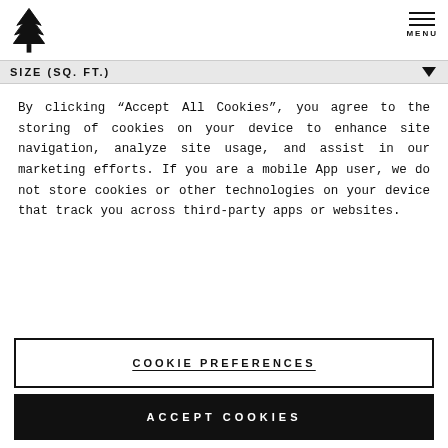[Tree logo] MENU
SIZE (SQ. FT.)
By clicking “Accept All Cookies”, you agree to the storing of cookies on your device to enhance site navigation, analyze site usage, and assist in our marketing efforts. If you are a mobile App user, we do not store cookies or other technologies on your device that track you across third-party apps or websites.
COOKIE PREFERENCES
ACCEPT COOKIES